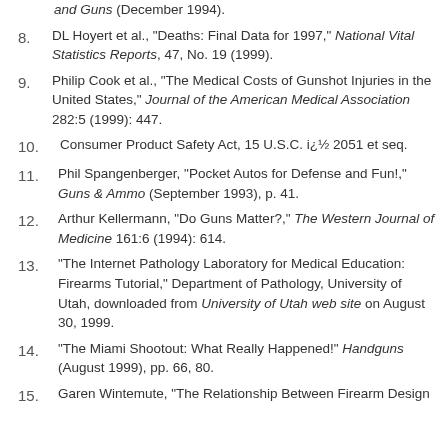and Guns (December 1994).
8. DL Hoyert et al., "Deaths: Final Data for 1997," National Vital Statistics Reports, 47, No. 19 (1999).
9. Philip Cook et al., "The Medical Costs of Gunshot Injuries in the United States," Journal of the American Medical Association 282:5 (1999): 447.
10. Consumer Product Safety Act, 15 U.S.C. i¿½ 2051 et seq.
11. Phil Spangenberger, "Pocket Autos for Defense and Fun!," Guns & Ammo (September 1993), p. 41.
12. Arthur Kellermann, "Do Guns Matter?," The Western Journal of Medicine 161:6 (1994): 614.
13. "The Internet Pathology Laboratory for Medical Education: Firearms Tutorial," Department of Pathology, University of Utah, downloaded from University of Utah web site on August 30, 1999.
14. "The Miami Shootout: What Really Happened!" Handguns (August 1999), pp. 66, 80.
15. Garen Wintemute, "The Relationship Between Firearm Design